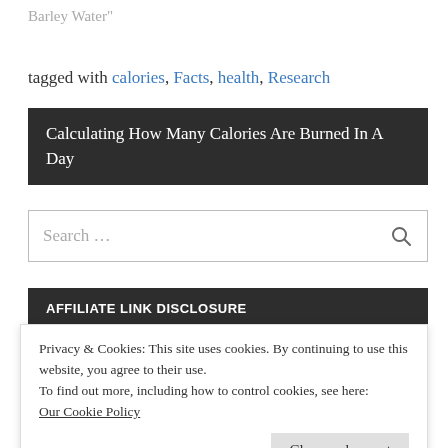Barley Water"
tagged with calories, Facts, health, Research
Calculating How Many Calories Are Burned In A Day
Search …
AFFILIATE LINK DISCLOSURE
Privacy & Cookies: This site uses cookies. By continuing to use this website, you agree to their use. To find out more, including how to control cookies, see here: Our Cookie Policy
Close and accept
Enter your email address to follow this blog and